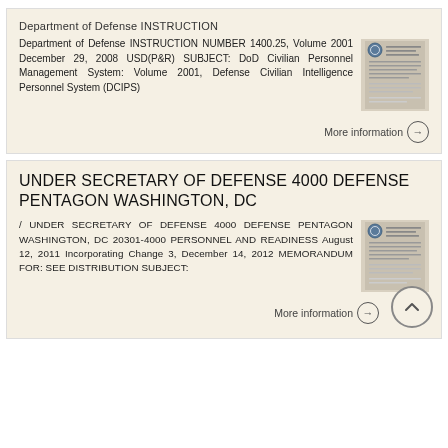Department of Defense INSTRUCTION
Department of Defense INSTRUCTION NUMBER 1400.25, Volume 2001 December 29, 2008 USD(P&R) SUBJECT: DoD Civilian Personnel Management System: Volume 2001, Defense Civilian Intelligence Personnel System (DCIPS)
More information →
UNDER SECRETARY OF DEFENSE 4000 DEFENSE PENTAGON WASHINGTON, DC
/ UNDER SECRETARY OF DEFENSE 4000 DEFENSE PENTAGON WASHINGTON, DC 20301-4000 PERSONNEL AND READINESS August 12, 2011 Incorporating Change 3, December 14, 2012 MEMORANDUM FOR: SEE DISTRIBUTION SUBJECT:
More information →